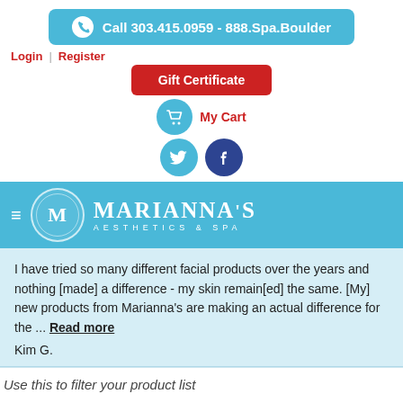Call 303.415.0959 - 888.Spa.Boulder
Login | Register
Gift Certificate
My Cart
[Figure (logo): Twitter and Facebook social media icons]
[Figure (logo): Marianna's Aesthetics & Spa logo with M circle emblem on blue nav bar]
I have tried so many different facial products over the years and nothing [made] a difference - my skin remain[ed] the same. [My] new products from Marianna's are making an actual difference for the ... Read more
Kim G.
Use this to filter your product list